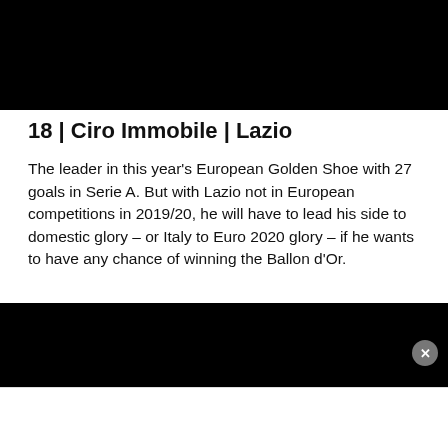[Figure (photo): Black image block at the top of the page (photo of Ciro Immobile, obscured/blacked out)]
18 | Ciro Immobile | Lazio
The leader in this year's European Golden Shoe with 27 goals in Serie A. But with Lazio not in European competitions in 2019/20, he will have to lead his side to domestic glory – or Italy to Euro 2020 glory – if he wants to have any chance of winning the Ballon d'Or.
[Figure (photo): Black image block at the bottom of the page (another photo, obscured/blacked out)]